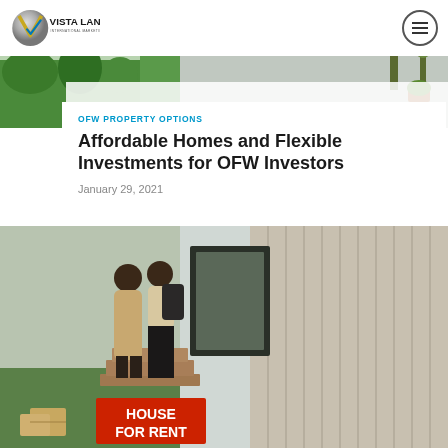Vista Land International Marketing, Inc.
[Figure (photo): Top hero strip showing a lush green garden with plants and a driveway]
OFW PROPERTY OPTIONS
Affordable Homes and Flexible Investments for OFW Investors
January 29, 2021
[Figure (photo): Two people entering a modern wooden house with a red House For Rent sign in the foreground]